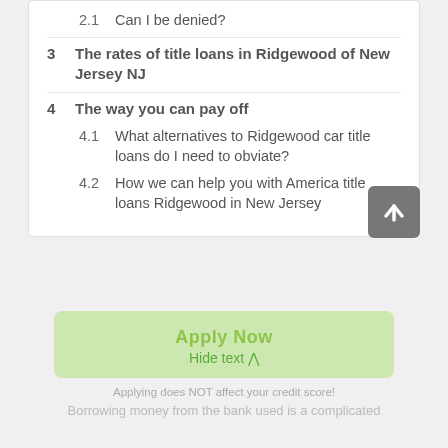2.1  Can I be denied?
3  The rates of title loans in Ridgewood of New Jersey NJ
4  The way you can pay off
4.1  What alternatives to Ridgewood car title loans do I need to obviate?
4.2  How we can help you with America title loans Ridgewood in New Jersey
[Figure (other): Scroll to top button — grey rounded square with white upward arrow]
Apply Now
Hide text ^
Applying does NOT affect your credit score!
Borrowing money from the bank used is a complicated